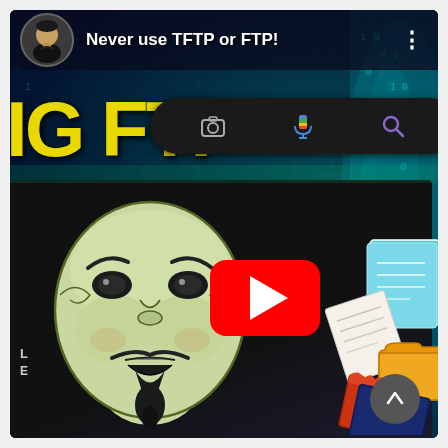[Figure (screenshot): YouTube video thumbnail/preview screenshot showing a cybersecurity video titled 'Never use TFTP or FTP!' with a Guy Fawkes anonymous mask, file icons, YouTube play button, search bar with 'IG FTP' text in yellow, and a digital matrix cyan background.]